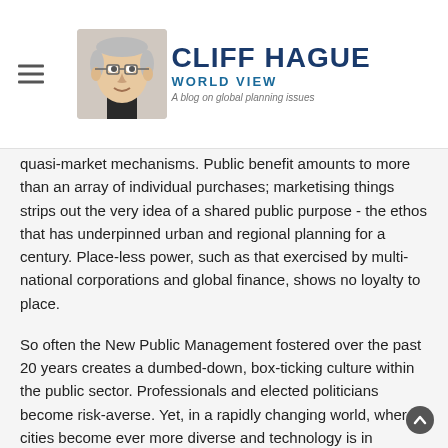CLIFF HAGUE WORLD VIEW — A blog on global planning issues
quasi-market mechanisms. Public benefit amounts to more than an array of individual purchases; marketising things strips out the very idea of a shared public purpose - the ethos that has underpinned urban and regional planning for a century. Place-less power, such as that exercised by multi-national corporations and global finance, shows no loyalty to place.
So often the New Public Management fostered over the past 20 years creates a dumbed-down, box-ticking culture within the public sector. Professionals and elected politicians become risk-averse. Yet, in a rapidly changing world, where cities become ever more diverse and technology is in constant flux, public administrations need an innovative culture. Hambleton argues that "nation states that have strong local governments will continue to enjoy an innovation advantage". Not much hope for the UK then!
Innovation stories